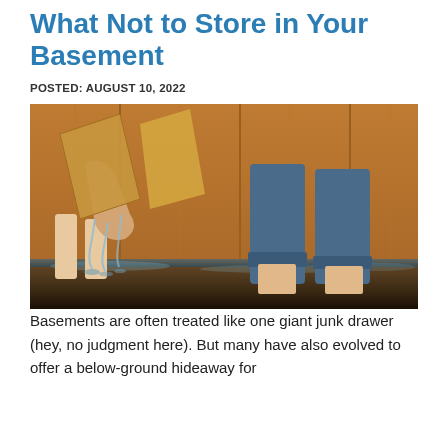What Not to Store in Your Basement
POSTED: AUGUST 10, 2022
[Figure (photo): Person standing in a flooded basement holding a wet cardboard box dripping water, bare legs visible standing in the floodwater, wooden wall panels in background.]
Basements are often treated like one giant junk drawer (hey, no judgment here). But many have also evolved to offer a below-ground hideaway for